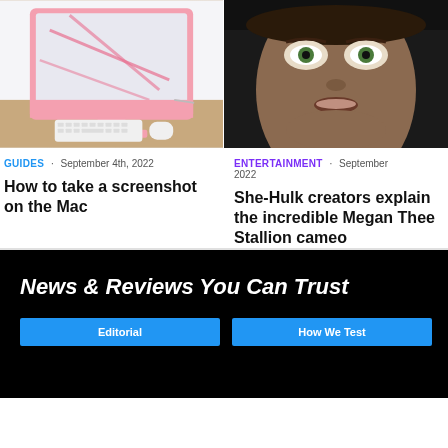[Figure (photo): Pink iMac with keyboard and mouse on a wooden desk]
GUIDES · September 4th, 2022
How to take a screenshot on the Mac
[Figure (photo): Close-up of a person's face with wide green eyes, dark scene from She-Hulk]
ENTERTAINMENT · September 2022
She-Hulk creators explain the incredible Megan Thee Stallion cameo
News & Reviews You Can Trust
Editorial
How We Test